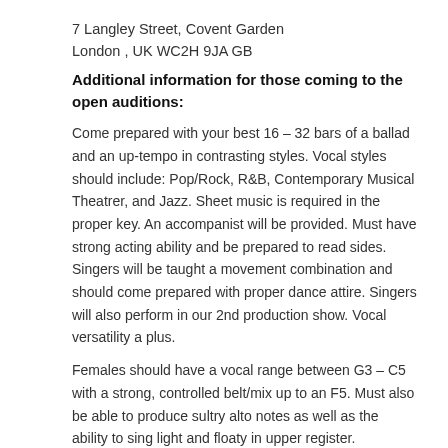7 Langley Street, Covent Garden
London , UK WC2H 9JA GB
Additional information for those coming to the open auditions:
Come prepared with your best 16 – 32 bars of a ballad and an up-tempo in contrasting styles. Vocal styles should include: Pop/Rock, R&B, Contemporary Musical Theatrer, and Jazz. Sheet music is required in the proper key. An accompanist will be provided. Must have strong acting ability and be prepared to read sides. Singers will be taught a movement combination and should come prepared with proper dance attire. Singers will also perform in our 2nd production show. Vocal versatility a plus.
Females should have a vocal range between G3 – C5 with a strong, controlled belt/mix up to an F5. Must also be able to produce sultry alto notes as well as the ability to sing light and floaty in upper register.